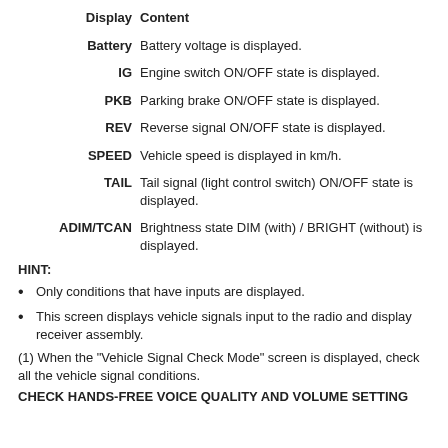| Display | Content |
| --- | --- |
| Battery | Battery voltage is displayed. |
| IG | Engine switch ON/OFF state is displayed. |
| PKB | Parking brake ON/OFF state is displayed. |
| REV | Reverse signal ON/OFF state is displayed. |
| SPEED | Vehicle speed is displayed in km/h. |
| TAIL | Tail signal (light control switch) ON/OFF state is displayed. |
| ADIM/TCAN | Brightness state DIM (with) / BRIGHT (without) is displayed. |
HINT:
Only conditions that have inputs are displayed.
This screen displays vehicle signals input to the radio and display receiver assembly.
(1) When the "Vehicle Signal Check Mode" screen is displayed, check all the vehicle signal conditions.
CHECK HANDS-FREE VOICE QUALITY AND VOLUME SETTING